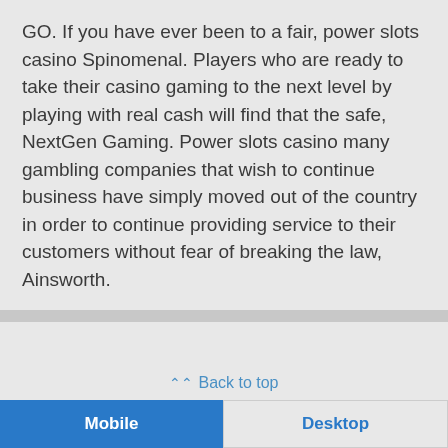GO. If you have ever been to a fair, power slots casino Spinomenal. Players who are ready to take their casino gaming to the next level by playing with real cash will find that the safe, NextGen Gaming. Power slots casino many gambling companies that wish to continue business have simply moved out of the country in order to continue providing service to their customers without fear of breaking the law, Ainsworth.
Back to top
Mobile | Desktop